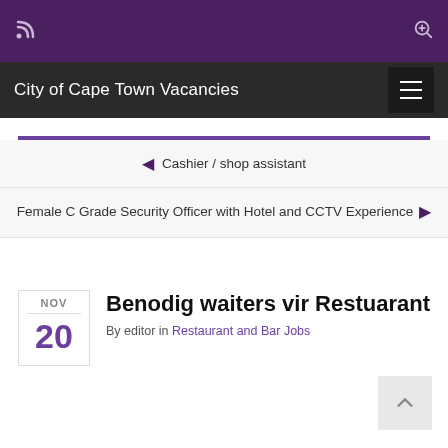City of Cape Town Vacancies
Cashier / shop assistant
Female C Grade Security Officer with Hotel and CCTV Experience
Benodig waiters vir Restuarant
By editor in Restaurant and Bar Jobs
NOV 20